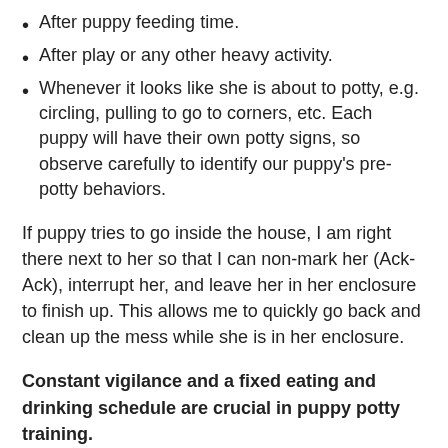After puppy feeding time.
After play or any other heavy activity.
Whenever it looks like she is about to potty, e.g. circling, pulling to go to corners, etc. Each puppy will have their own potty signs, so observe carefully to identify our puppy’s pre-potty behaviors.
If puppy tries to go inside the house, I am right there next to her so that I can non-mark her (Ack-Ack), interrupt her, and leave her in her enclosure to finish up. This allows me to quickly go back and clean up the mess while she is in her enclosure.
Constant vigilance and a fixed eating and drinking schedule are crucial in puppy potty training.